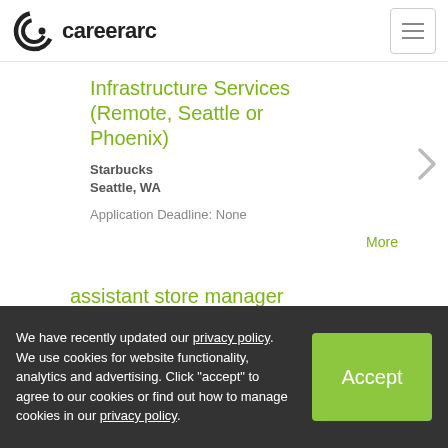careerarc
Infrastructure Services (Remote, Seattle or Phoenix)
Starbucks
Seattle, WA
Application Deadline: None
assistant store manager
Starbucks
England, United Kingdom
Application Deadline: None
We have recently updated our privacy policy. We use cookies for website functionality, analytics and advertising. Click "accept" to agree to our cookies or find out how to manage cookies in our privacy policy.